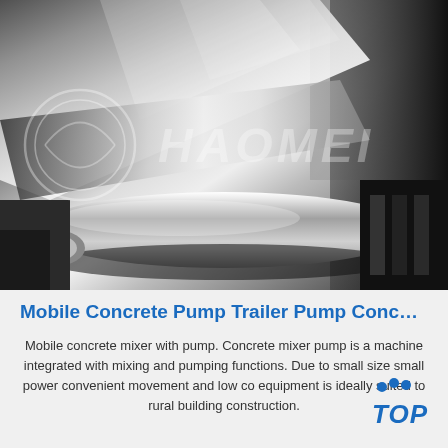[Figure (photo): Industrial photo of a large metallic cylindrical roller or drum pressed against flat metal sheets in a factory setting. A watermark reading 'HAOMEI' with a circular logo is overlaid on the image.]
Mobile Concrete Pump Trailer Pump Conc…
Mobile concrete mixer with pump. Concrete mixer pump is a machine integrated with mixing and pumping functions. Due to small size small power convenient movement and low co equipment is ideally suited to rural building construction.